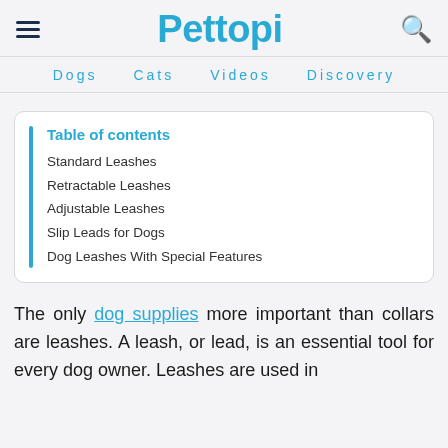Pettopi — Dogs  Cats  Videos  Discovery
| Table of contents |
| --- |
| Standard Leashes |
| Retractable Leashes |
| Adjustable Leashes |
| Slip Leads for Dogs |
| Dog Leashes With Special Features |
The only dog supplies more important than collars are leashes. A leash, or lead, is an essential tool for every dog owner. Leashes are used in